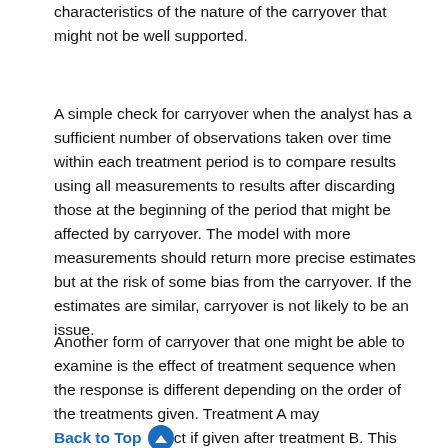characteristics of the nature of the carryover that might not be well supported.
A simple check for carryover when the analyst has a sufficient number of observations taken over time within each treatment period is to compare results using all measurements to results after discarding those at the beginning of the period that might be affected by carryover. The model with more measurements should return more precise estimates but at the risk of some bias from the carryover. If the estimates are similar, carryover is not likely to be an issue.
Another form of carryover that one might be able to examine is the effect of treatment sequence when the response is different depending on the order of the treatments given. Treatment A may [Back to Top] ct if given after treatment B. This might manifest itself